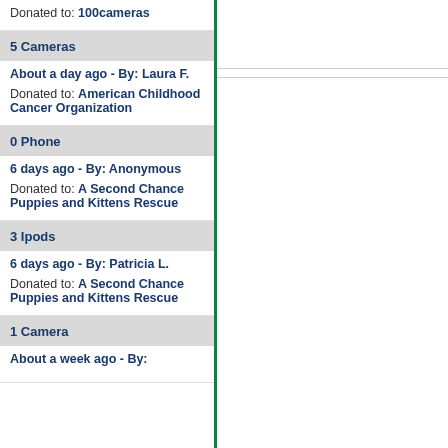Donated to: 100cameras
5 Cameras
About a day ago - By: Laura F.
Donated to: American Childhood Cancer Organization
0 Phone
6 days ago - By: Anonymous
Donated to: A Second Chance Puppies and Kittens Rescue
3 Ipods
6 days ago - By: Patricia L.
Donated to: A Second Chance Puppies and Kittens Rescue
1 Camera
About a week ago - By: